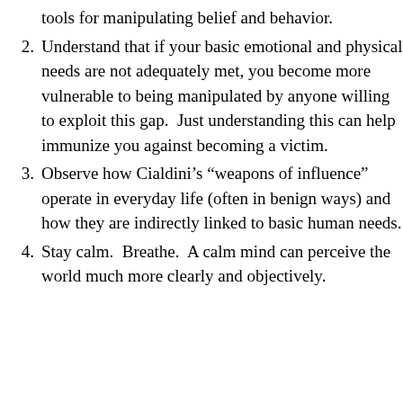tools for manipulating belief and behavior.
2. Understand that if your basic emotional and physical needs are not adequately met, you become more vulnerable to being manipulated by anyone willing to exploit this gap.  Just understanding this can help immunize you against becoming a victim.
3. Observe how Cialdini’s “weapons of influence” operate in everyday life (often in benign ways) and how they are indirectly linked to basic human needs.
4. Stay calm.  Breathe.  A calm mind can perceive the world much more clearly and objectively.